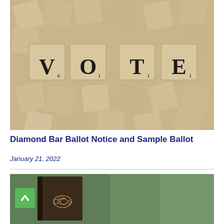[Figure (photo): Scrabble tiles arranged to spell 'VOTE' with the letters V, O, T, E on individual wooden tiles, surrounded by scattered wooden tiles on a surface.]
Diamond Bar Ballot Notice and Sample Ballot
January 21, 2022
[Figure (photo): A dark leather-bound notebook or journal with decorative swirl design, partially visible against a green chalkboard background. A green scroll-to-top button is overlaid in the bottom-left corner.]